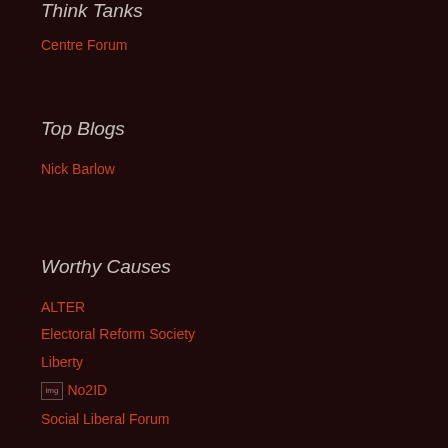Think Tanks
Centre Forum
Top Blogs
Nick Barlow
Worthy Causes
ALTER
Electoral Reform Society
Liberty
No2ID No2ID
Social Liberal Forum